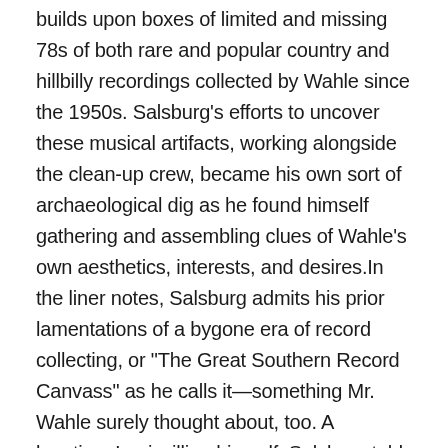builds upon boxes of limited and missing 78s of both rare and popular country and hillbilly recordings collected by Wahle since the 1950s. Salsburg's efforts to uncover these musical artifacts, working alongside the clean-up crew, became his own sort of archaeological dig as he found himself gathering and assembling clues of Wahle's own aesthetics, interests, and desires.In the liner notes, Salsburg admits his prior lamentations of a bygone era of record collecting, or "The Great Southern Record Canvass" as he calls it—something Mr. Wahle surely thought about, too. A longtime Louisvillian himself, Salsburg told me that the sheer serendipity of coming across Wahle's fragile collection, in his own city no less, served as a reminder that golden eras are, in fact, fluid in time and space.After the discovery, Salsburg and friends started the work of gathering Wahle's history from whatever scribbled correspondences and musical want-lists were found. He and others looked for next-of-kin, but no one stepped forward. Salsburg states, "We don't know what he did for a living, what he looked like, or virtually any other biographical details apart from